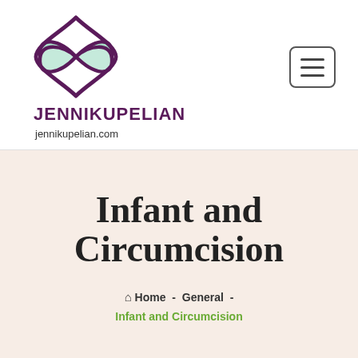[Figure (logo): Jenni Kupelian logo: a four-petal flower shape with mint green petals outlined in dark purple]
JENNIKUPELIAN
jennikupelian.com
Infant and Circumcision
Home - General - Infant and Circumcision